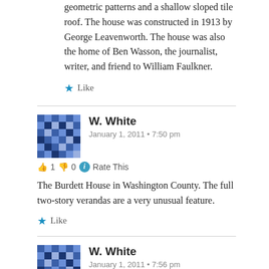geometric patterns and a shallow sloped tile roof. The house was constructed in 1913 by George Leavenworth. The house was also the home of Ben Wasson, the journalist, writer, and friend to William Faulkner.
★ Like
W. White
January 1, 2011 • 7:50 pm
👍 1 👎 0 ℹ Rate This
The Burdett House in Washington County. The full two-story verandas are a very unusual feature.
★ Like
W. White
January 1, 2011 • 7:56 pm
👍 2 👎 0 ℹ Rate This
The Benevolent and Protective Order of the Elk, No. 148